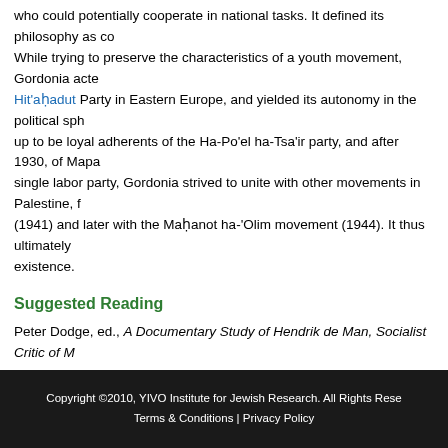who could potentially cooperate in national tasks. It defined its philosophy as co... While trying to preserve the characteristics of a youth movement, Gordonia acte... Hit'aḥadut Party in Eastern Europe, and yielded its autonomy in the political sph... up to be loyal adherents of the Ha-Po'el ha-Tsa'ir party, and after 1930, of Mapa... single labor party, Gordonia strived to unite with other movements in Palestine, f... (1941) and later with the Maḥanot ha-'Olim movement (1944). It thus ultimately... existence.
Suggested Reading
Peter Dodge, ed., A Documentary Study of Hendrik de Man, Socialist Critic of M... Margalit, Gordonyah be-Polin (Ḥuldah, Israel, 1980); Nathan Rotenstraich, ed., ... ḥalutsit (Ḥuldah, Israel, 1982); Me'ir Zayit, ed., Sipurah shel tenu'ah: Gordonyah... (Ḥuldah, Israel, 1978).
Author
Eli Tzur
Copyright ©2010, YIVO Institute for Jewish Research. All Rights Rese... Terms & Conditions | Privacy Policy